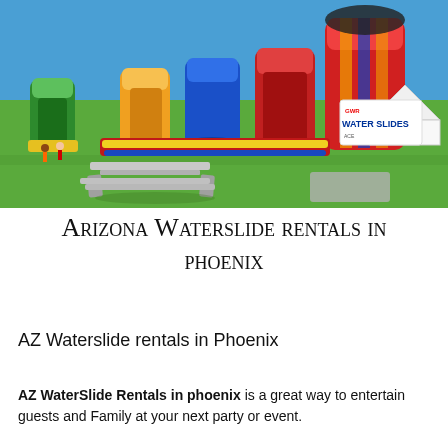[Figure (photo): Outdoor event with multiple colorful inflatable water slides on a green grass field under a clear blue sky. A picnic table is visible in the foreground, and a banner reading 'Water Slides' is on the right side.]
Arizona Waterslide rentals in Phoenix
AZ Waterslide rentals in Phoenix
AZ WaterSlide Rentals in phoenix is a great way to entertain guests and Family at your next party or event.